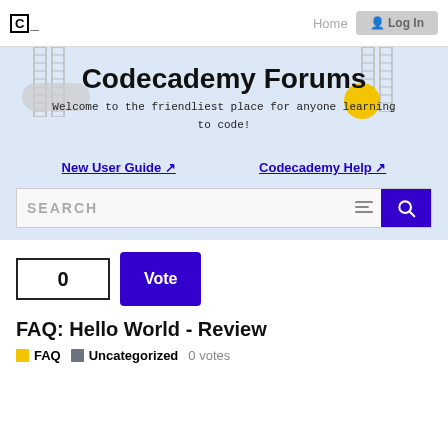Home  Log In
Codecademy Forums
Welcome to the friendliest place for anyone learning to code!
New User Guide ↗   Codecademy Help ↗
[Figure (screenshot): Search bar with filter icon and blue search button]
0  Vote
FAQ: Hello World - Review
FAQ  Uncategorized  0 votes